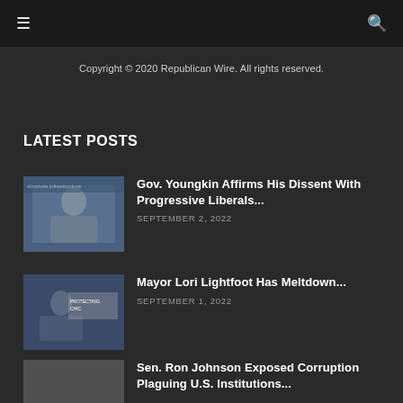☰  🔍
Copyright © 2020 Republican Wire. All rights reserved.
LATEST POSTS
Gov. Youngkin Affirms His Dissent With Progressive Liberals...
SEPTEMBER 2, 2022
Mayor Lori Lightfoot Has Meltdown...
SEPTEMBER 1, 2022
Sen. Ron Johnson Exposed Corruption Plaguing U.S. Institutions...